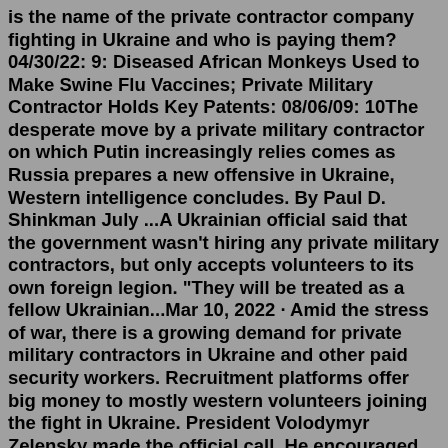is the name of the private contractor company fighting in Ukraine and who is paying them? 04/30/22: 9: Diseased African Monkeys Used to Make Swine Flu Vaccines; Private Military Contractor Holds Key Patents: 08/06/09: 10The desperate move by a private military contractor on which Putin increasingly relies comes as Russia prepares a new offensive in Ukraine, Western intelligence concludes. By Paul D. Shinkman July ...A Ukrainian official said that the government wasn't hiring any private military contractors, but only accepts volunteers to its own foreign legion. "They will be treated as a fellow Ukrainian...Mar 10, 2022 · Amid the stress of war, there is a growing demand for private military contractors in Ukraine and other paid security workers. Recruitment platforms offer big money to mostly western volunteers joining the fight in Ukraine. President Volodymyr Zelensky made the official call. He encouraged citizens of the world, ready and willing to help Ukraine, to come and fight. Mar 29, 2022 · 03523: Ukrainian intelligence official...